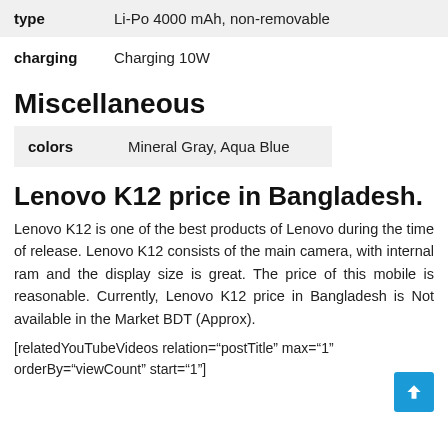| Field | Value |
| --- | --- |
| type | Li-Po 4000 mAh, non-removable |
| charging | Charging 10W |
Miscellaneous
| Field | Value |
| --- | --- |
| colors | Mineral Gray, Aqua Blue |
Lenovo K12 price in Bangladesh.
Lenovo K12 is one of the best products of Lenovo during the time of release. Lenovo K12 consists of the main camera, with internal ram and the display size is great. The price of this mobile is reasonable. Currently, Lenovo K12 price in Bangladesh is Not available in the Market BDT (Approx).
[relatedYouTubeVideos relation="postTitle" max="1" orderBy="viewCount" start="1"]